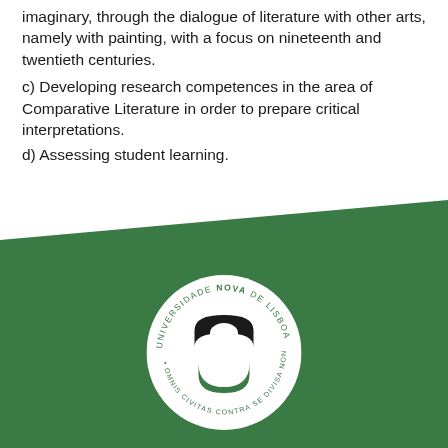imaginary, through the dialogue of literature with other arts, namely with painting, with a focus on nineteenth and twentieth centuries.
c) Developing research competences in the area of Comparative Literature in order to prepare critical interpretations.
d) Assessing student learning.
[Figure (logo): Universidade NOVA de Lisboa circular logo with black and green emblem on white circle, set against green background]